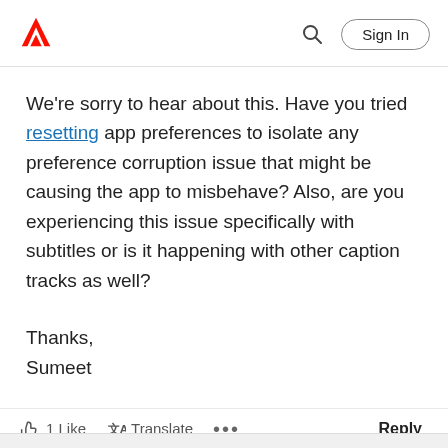Adobe | Sign In
We're sorry to hear about this. Have you tried resetting app preferences to isolate any preference corruption issue that might be causing the app to misbehave? Also, are you experiencing this issue specifically with subtitles or is it happening with other caption tracks as well?

Thanks,
Sumeet
1 Like  Translate  ...  Reply